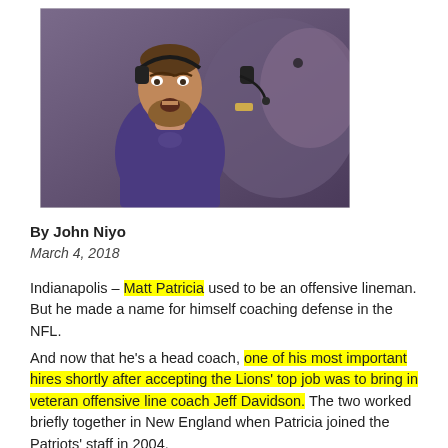[Figure (photo): A football coach wearing a purple Minnesota Vikings polo shirt and headset, speaking during a game. Man with beard and microphone visible in background.]
By John Niyo
March 4, 2018
Indianapolis – Matt Patricia used to be an offensive lineman. But he made a name for himself coaching defense in the NFL.
And now that he's a head coach, one of his most important hires shortly after accepting the Lions' top job was to bring in veteran offensive line coach Jeff Davidson. The two worked briefly together in New England when Patricia joined the Patriots' staff in 2004.